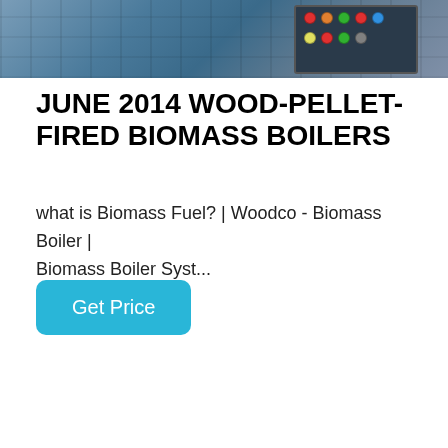[Figure (photo): Industrial biomass boiler equipment with control panel, blue machinery against warehouse background]
JUNE 2014 WOOD-PELLET-FIRED BIOMASS BOILERS
what is Biomass Fuel? | Woodco - Biomass Boiler | Biomass Boiler Syst...
[Figure (other): Get Price button - blue rounded rectangle button]
[Figure (photo): Industrial gas boiler system with yellow pipes, blue disc, control panel and WhatsApp contact overlay]